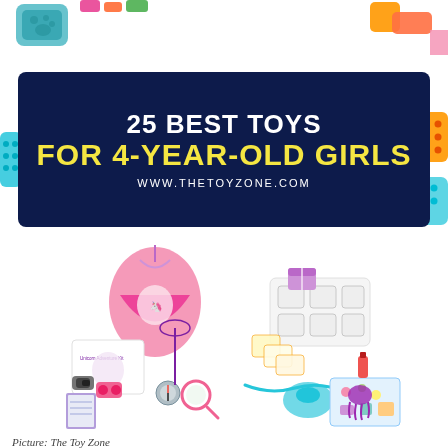[Figure (illustration): Colorful toy blocks, erasers, and craft items scattered at top of page as decorative border]
25 Best Toys for 4-Year-Old Girls
www.thetoyzone.com
[Figure (photo): Two product photos side by side: left shows Unicorn Adventure Kit with pink bag, binoculars, compass, magnifying glass and notebook; right shows a soap/craft making kit with molds, glycerin blocks, and accessories]
Picture: The Toy Zone